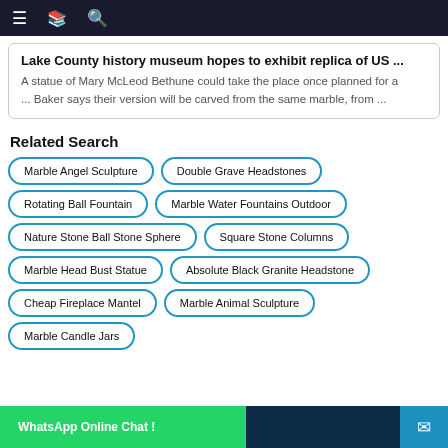≡  📖  🔍
Lake County history museum hopes to exhibit replica of US ...
A statue of Mary McLeod Bethune could take the place once planned for a ... Baker says their version will be carved from the same marble, from ...
Related Search
Marble Angel Sculpture
Double Grave Headstones
Rotating Ball Fountain
Marble Water Fountains Outdoor
Nature Stone Ball Stone Sphere
Square Stone Columns
Marble Head Bust Statue
Absolute Black Granite Headstone
Cheap Fireplace Mantel
Marble Animal Sculpture
Marble Candle Jars
WhatsApp Online Chat !